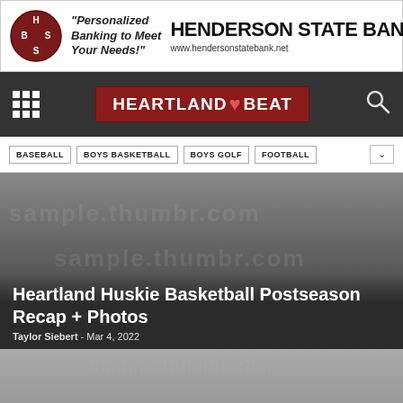[Figure (other): Henderson State Bank advertisement banner with HSB circular logo, tagline 'Personalized Banking to Meet Your Needs!', bank name 'HENDERSON STATE BANK', website www.hendersonstatebank.net, and Member FDIC text]
HEARTLAND BEAT
BASEBALL
BOYS BASKETBALL
BOYS GOLF
FOOTBALL
[Figure (photo): Hero image area with dark gray gradient background, partially obscured photo content]
Heartland Huskie Basketball Postseason Recap + Photos
Taylor Siebert  -  Mar 4, 2022
[Figure (photo): Second photo placeholder with gray gradient background]